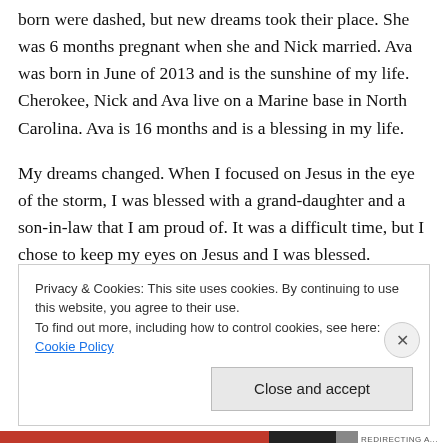born were dashed, but new dreams took their place. She was 6 months pregnant when she and Nick married. Ava was born in June of 2013 and is the sunshine of my life. Cherokee, Nick and Ava live on a Marine base in North Carolina. Ava is 16 months and is a blessing in my life.
My dreams changed. When I focused on Jesus in the eye of the storm, I was blessed with a grand-daughter and a son-in-law that I am proud of. It was a difficult time, but I chose to keep my eyes on Jesus and I was blessed.
Privacy & Cookies: This site uses cookies. By continuing to use this website, you agree to their use.
To find out more, including how to control cookies, see here: Cookie Policy